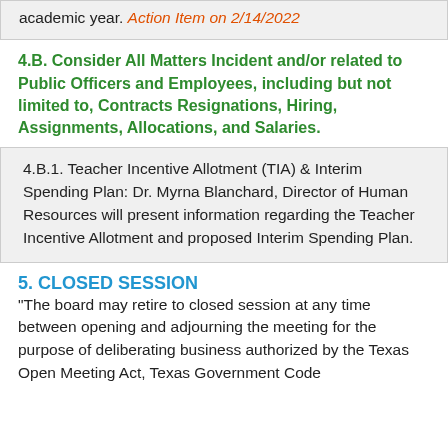Academic Planning Guides for the 2022-2023 academic year. Action Item on 2/14/2022
4.B. Consider All Matters Incident and/or related to Public Officers and Employees, including but not limited to, Contracts Resignations, Hiring, Assignments, Allocations, and Salaries.
4.B.1. Teacher Incentive Allotment (TIA) & Interim Spending Plan: Dr. Myrna Blanchard, Director of Human Resources will present information regarding the Teacher Incentive Allotment and proposed Interim Spending Plan.
5. CLOSED SESSION
"The board may retire to closed session at any time between opening and adjourning the meeting for the purpose of deliberating business authorized by the Texas Open Meeting Act, Texas Government Code